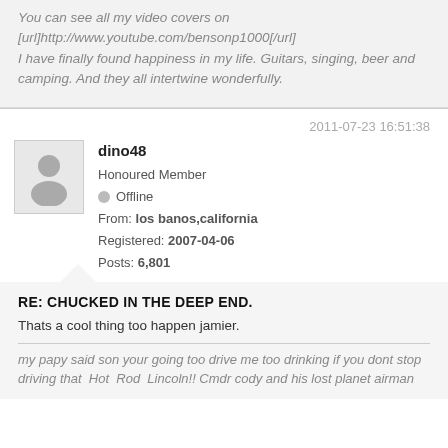You can see all my video covers on [url]http://www.youtube.com/bensonp1000[/url] I have finally found happiness in my life.  Guitars, singing, beer and camping.  And they all intertwine wonderfully.
2011-07-23 16:51:38
dino48
Honoured Member
Offline
From: los banos,california
Registered: 2007-04-06
Posts: 6,801
RE: CHUCKED IN THE DEEP END.
Thats a cool thing too happen jamier.
my papy said son your going too drive me too drinking if you dont stop driving that  Hot  Rod  Lincoln!! Cmdr cody and his lost planet airman